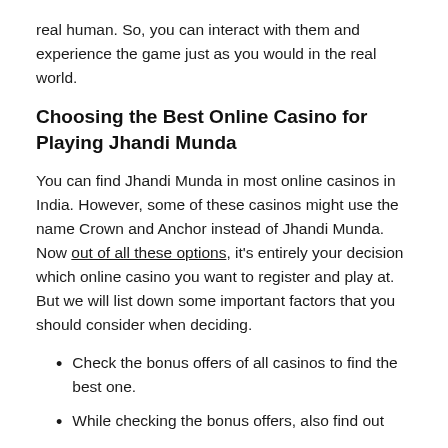real human. So, you can interact with them and experience the game just as you would in the real world.
Choosing the Best Online Casino for Playing Jhandi Munda
You can find Jhandi Munda in most online casinos in India. However, some of these casinos might use the name Crown and Anchor instead of Jhandi Munda. Now out of all these options, it's entirely your decision which online casino you want to register and play at. But we will list down some important factors that you should consider when deciding.
Check the bonus offers of all casinos to find the best one.
While checking the bonus offers, also find out